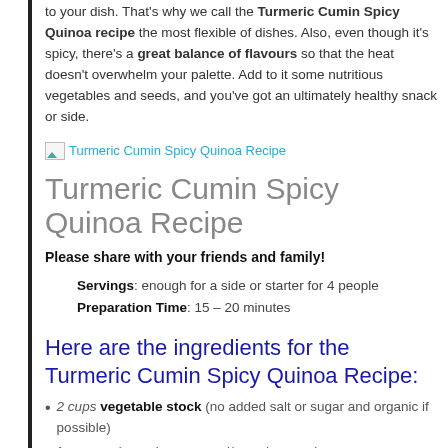to your dish. That's why we call the Turmeric Cumin Spicy Quinoa recipe the most flexible of dishes. Also, even though it's spicy, there's a great balance of flavours so that the heat doesn't overwhelm your palette. Add to it some nutritious vegetables and seeds, and you've got an ultimately healthy snack or side.
[Figure (photo): Image link: Turmeric Cumin Spicy Quinoa Recipe]
Turmeric Cumin Spicy Quinoa Recipe
Please share with your friends and family!
Servings: enough for a side or starter for 4 people
Preparation Time: 15 – 20 minutes
Here are the ingredients for the Turmeric Cumin Spicy Quinoa Recipe:
2 cups vegetable stock (no added salt or sugar and organic if possible)
1 pepper (organic green and/or red pepper)